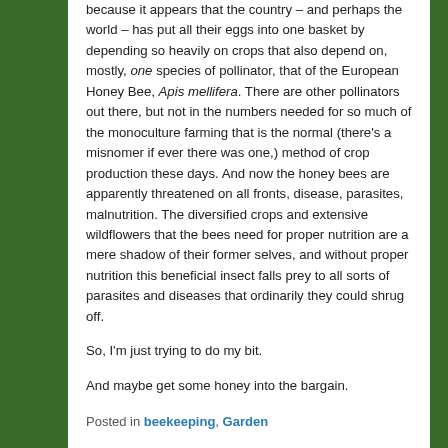because it appears that the country – and perhaps the world – has put all their eggs into one basket by depending so heavily on crops that also depend on, mostly, one species of pollinator, that of the European Honey Bee, Apis mellifera. There are other pollinators out there, but not in the numbers needed for so much of the monoculture farming that is the normal (there's a misnomer if ever there was one,) method of crop production these days. And now the honey bees are apparently threatened on all fronts, disease, parasites, malnutrition. The diversified crops and extensive wildflowers that the bees need for proper nutrition are a mere shadow of their former selves, and without proper nutrition this beneficial insect falls prey to all sorts of parasites and diseases that ordinarily they could shrug off.
So, I'm just trying to do my bit.
And maybe get some honey into the bargain.
Posted in beekeeping, Garden